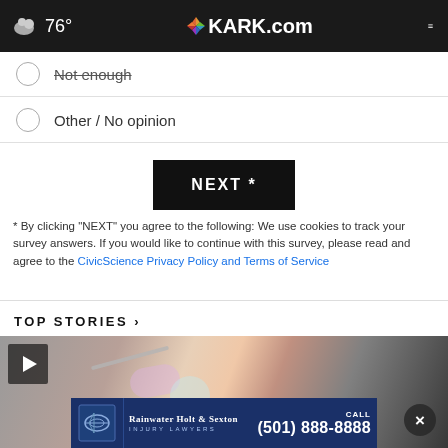76° KARK.com
Not enough
Other / No opinion
NEXT *
* By clicking "NEXT" you agree to the following: We use cookies to track your survey answers. If you would like to continue with this survey, please read and agree to the CivicScience Privacy Policy and Terms of Service
TOP STORIES ›
[Figure (photo): Video thumbnail showing medical needle/syringe close-up with play button overlay and Rainwater Holt & Sexton injury lawyers advertisement banner at bottom]